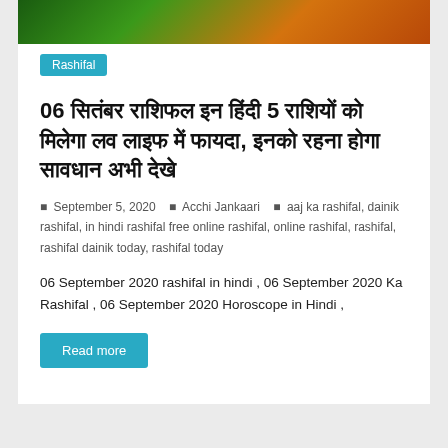[Figure (photo): Colorful nature photo with green and orange tones, partially visible at top]
Rashifal
06 सितंबर राशिफल इन हिंदी 5 राशियों को मिलेगा लव लाइफ में फायदा, इनको रहना होगा सावधान अभी देखे
September 5, 2020   Acchi Jankaari   aaj ka rashifal, dainik rashifal, in hindi rashifal free online rashifal, online rashifal, rashifal, rashifal dainik today, rashifal today
06 September 2020 rashifal in hindi , 06 September 2020 Ka Rashifal , 06 September 2020 Horoscope in Hindi ,
Read more